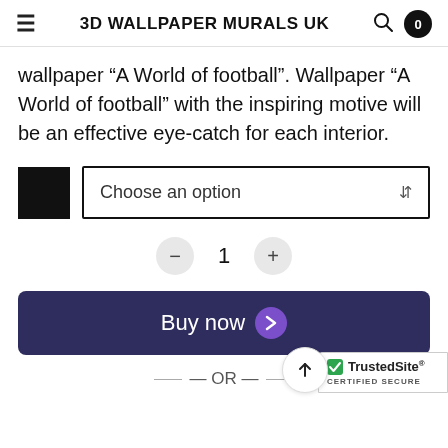3D WALLPAPER MURALS UK
wallpaper “A World of football”. Wallpaper “A World of football” with the inspiring motive will be an effective eye-catch for each interior.
[Figure (screenshot): Dropdown selector labeled 'Choose an option' with a black color swatch on the left]
[Figure (screenshot): Quantity selector showing minus button, 1, and plus button]
[Figure (screenshot): Buy now button with purple arrow in dark navy background]
— OR —
[Figure (logo): TrustedSite CERTIFIED SECURE badge]